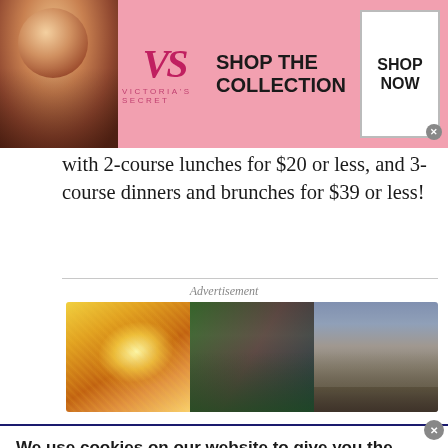[Figure (illustration): Victoria's Secret advertisement banner with a model photo on the left, VS logo and brand name in center, 'SHOP THE COLLECTION' text, and a 'SHOP NOW' button with a close X.]
with 2-course lunches for $20 or less, and 3-course dinners and brunches for $39 or less!
Advertisement
[Figure (photo): Three-panel advertisement image showing: a golden sparkly light burst on left, a group of festival-goers in colorful costumes in the center, and a city skyline with waterfront on the right.]
We use cookies on our website to give you the most relevant experience by remembering your preferences and repeat visits. By clicking “Accept All”, you consent to the use of ALL